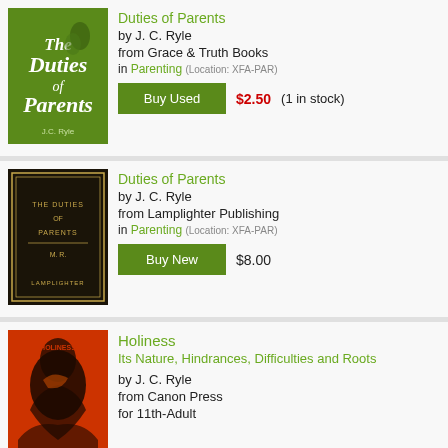[Figure (illustration): Book cover: The Duties of Parents by J.C. Ryle, green cover]
Duties of Parents
by J. C. Ryle
from Grace & Truth Books
in Parenting (Location: XFA-PAR)
Buy Used $2.50 (1 in stock)
[Figure (illustration): Book cover: The Duties of Parents, dark antique style by Lamplighter Publishing]
Duties of Parents
by J. C. Ryle
from Lamplighter Publishing
in Parenting (Location: XFA-PAR)
Buy New $8.00
[Figure (illustration): Book cover: Holiness, red and black illustration]
Holiness
Its Nature, Hindrances, Difficulties and Roots
by J. C. Ryle
from Canon Press
for 11th-Adult